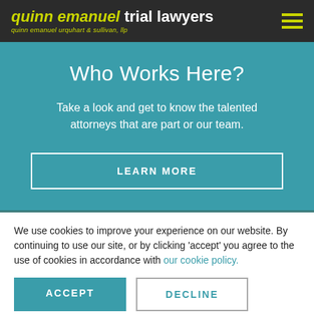quinn emanuel trial lawyers — quinn emanuel urquhart & sullivan, llp
Who Works Here?
Take a look and get to know the talented attorneys that are part or our team.
LEARN MORE
We use cookies to improve your experience on our website. By continuing to use our site, or by clicking 'accept' you agree to the use of cookies in accordance with our cookie policy.
ACCEPT
DECLINE